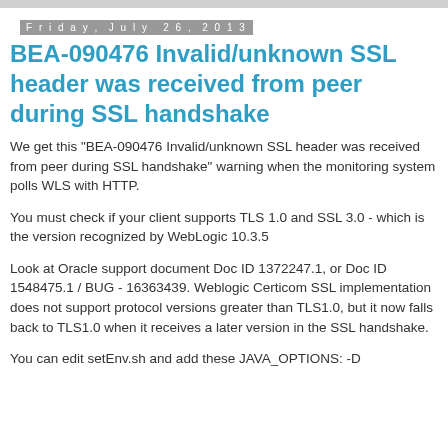Friday, July 26, 2013
BEA-090476 Invalid/unknown SSL header was received from peer during SSL handshake
We get this "BEA-090476 Invalid/unknown SSL header was received from peer during SSL handshake" warning when the monitoring system polls WLS with HTTP.
You must check if your client supports TLS 1.0 and SSL 3.0 - which is the version recognized by WebLogic 10.3.5
Look at Oracle support document Doc ID 1372247.1, or Doc ID 1548475.1 / BUG - 16363439. Weblogic Certicom SSL implementation does not support protocol versions greater than TLS1.0, but it now falls back to TLS1.0 when it receives a later version in the SSL handshake.
You can edit setEnv.sh and add these JAVA_OPTIONS: -Dweblogic.security.SSL.ClientHelloVersion=TLS10